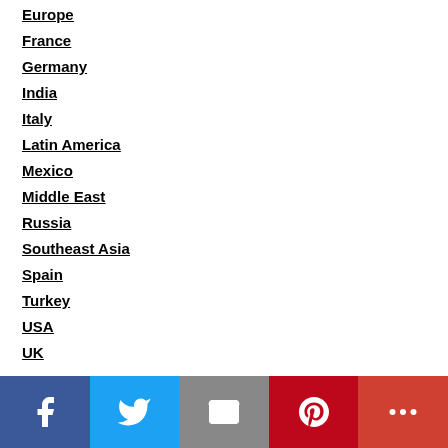Europe
France
Germany
India
Italy
Latin America
Mexico
Middle East
Russia
Southeast Asia
Spain
Turkey
USA
UK
[Figure (other): Social sharing bar with Facebook, Twitter, Email, Pinterest, and More buttons]